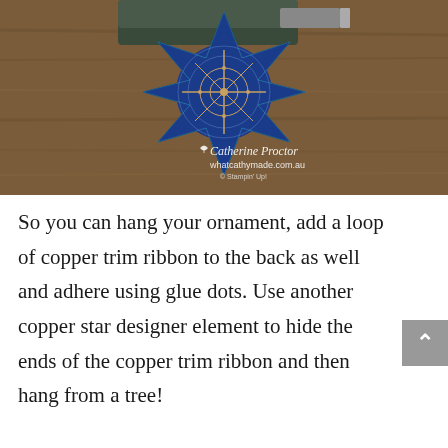[Figure (photo): A blue and gold decorative star/snowflake ornament made from patterned paper, placed on a wooden surface with a dark stapler in the background. Watermark reads 'Catherine Proctor whatcathymade.com.au © Stampin' Up!']
So you can hang your ornament, add a loop of copper trim ribbon to the back as well and adhere using glue dots. Use another copper star designer element to hide the ends of the copper trim ribbon and then hang from a tree!